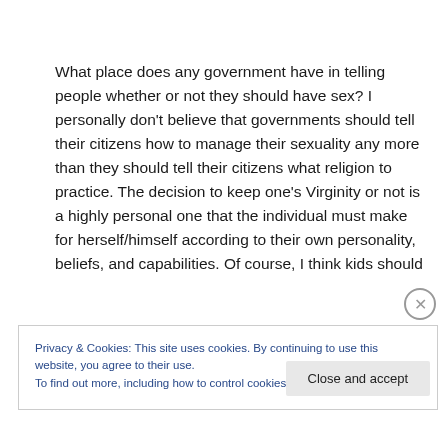What place does any government have in telling people whether or not they should have sex? I personally don't believe that governments should tell their citizens how to manage their sexuality any more than they should tell their citizens what religion to practice. The decision to keep one's Virginity or not is a highly personal one that the individual must make for herself/himself according to their own personality, beliefs, and capabilities. Of course, I think kids should
Privacy & Cookies: This site uses cookies. By continuing to use this website, you agree to their use.
To find out more, including how to control cookies, see here: Cookie Policy
Close and accept